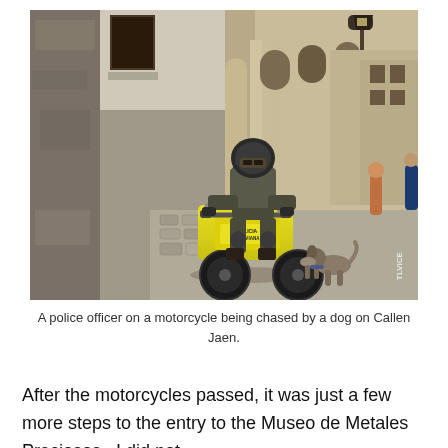[Figure (photo): A police officer in full gear and helmet riding a bright yellow motorcycle (labeled POLICIA BOLIVIANA) on a narrow cobblestone street (Callen Jaen), being chased by a dog. Colonial-style buildings line the street in the background. Watermark 'TLVICE' in lower right.]
A police officer on a motorcycle being chased by a dog on Callen Jaen.
After the motorcycles passed, it was just a few more steps to the entry to the Museo de Metales Preciosos.  I did not